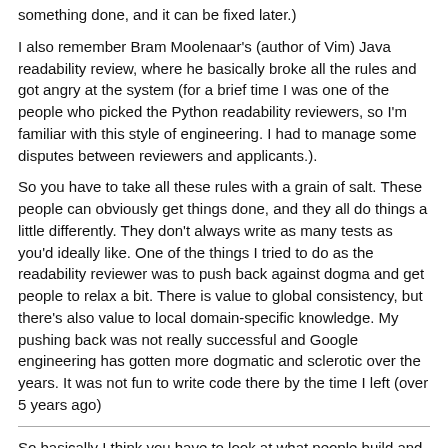something done, and it can be fixed later.)
I also remember Bram Moolenaar's (author of Vim) Java readability review, where he basically broke all the rules and got angry at the system (for a brief time I was one of the people who picked the Python readability reviewers, so I'm familiar with this style of engineering. I had to manage some disputes between reviewers and applicants.).
So you have to take all these rules with a grain of salt. These people can obviously get things done, and they all do things a little differently. They don't always write as many tests as you'd ideally like. One of the things I tried to do as the readability reviewer was to push back against dogma and get people to relax a bit. There is value to global consistency, but there's also value to local domain-specific knowledge. My pushing back was not really successful and Google engineering has gotten more dogmatic and sclerotic over the years. It was not fun to write code there by the time I left (over 5 years ago)
So basically I think you have to look at what people build and see how they do it. I would rather read a bunch of stories like “Coders at Work” or “Masterminds of Programming” than read any empirical study.
I think there should be a name for this empirical fallacy (or it